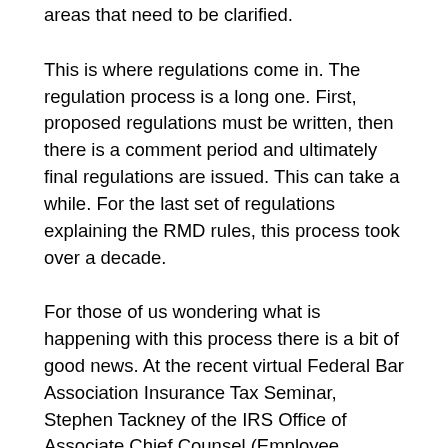areas that need to be clarified.
This is where regulations come in. The regulation process is a long one. First, proposed regulations must be written, then there is a comment period and ultimately final regulations are issued. This can take a while. For the last set of regulations explaining the RMD rules, this process took over a decade.
For those of us wondering what is happening with this process there is a bit of good news. At the recent virtual Federal Bar Association Insurance Tax Seminar, Stephen Tackney of the IRS Office of Associate Chief Counsel (Employee Benefits, Exempt Organizations, and Employment Taxes) confirmed that proposed regulations are on the way and promised they will provide answers to many of the questions